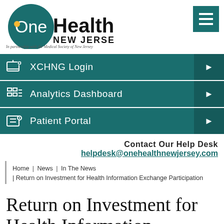[Figure (logo): OneHealth New Jersey logo — teal circle with 'One' in white and 'Health' in bold black, 'NEW JERSEY' below, tagline 'In partnership with the Medical Society of New Jersey']
XCHNG Login
Analytics Dashboard
Patient Portal
Contact Our Help Desk
helpdesk@onehealthnewjersey.com
Home | News | In The News | Return on Investment for Health Information Exchange Participation
Return on Investment for Health Information Exchange